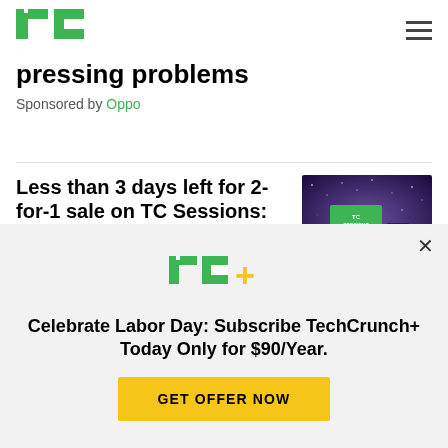TechCrunch
pressing problems
Sponsored by Oppo
Less than 3 days left for 2-for-1 sale on TC Sessions: Crypto passes!
Lauren Simonds
[Figure (screenshot): TC Sessions Crypto event thumbnail with purple/blue background]
Celebrate Labor Day: Subscribe TechCrunch+ Today Only for $90/Year.
GET OFFER NOW